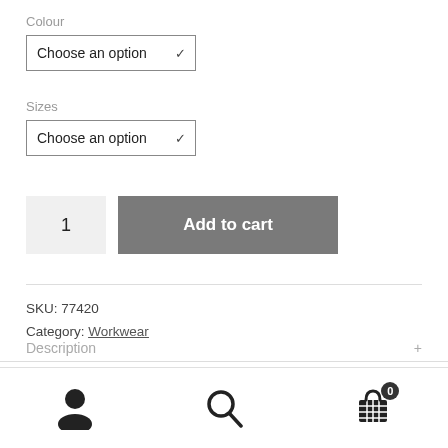Colour
Choose an option
Sizes
Choose an option
1
Add to cart
SKU: 77420
Category: Workwear
Description